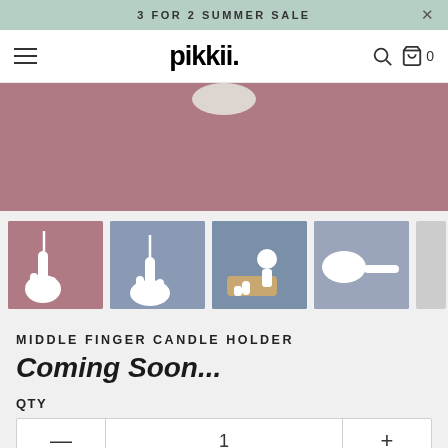3 FOR 2 SUMMER SALE
[Figure (screenshot): pikkii. e-commerce website navigation bar with hamburger menu, logo, search icon, and shopping bag icon showing 0]
[Figure (photo): Pink/mauve background product hero image showing middle finger candle holder from above, partial view]
[Figure (photo): Four product thumbnail images of the Middle Finger Candle Holder against pink and blue/grey backgrounds, with a right arrow navigation control]
MIDDLE FINGER CANDLE HOLDER
Coming Soon...
QTY
1